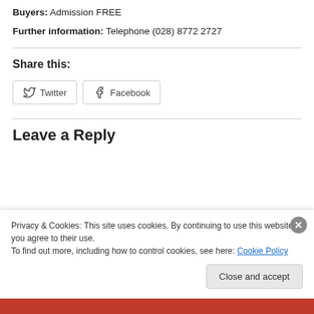Buyers: Admission FREE
Further information: Telephone (028) 8772 2727
Share this:
[Figure (other): Twitter and Facebook social share buttons]
Leave a Reply
Privacy & Cookies: This site uses cookies. By continuing to use this website, you agree to their use. To find out more, including how to control cookies, see here: Cookie Policy